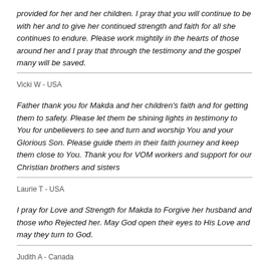provided for her and her children. I pray that you will continue to be with her and to give her continued strength and faith for all she continues to endure. Please work mightily in the hearts of those around her and I pray that through the testimony and the gospel many will be saved.
Vicki W - USA
Father thank you for Makda and her children's faith and for getting them to safety. Please let them be shining lights in testimony to You for unbelievers to see and turn and worship You and your Glorious Son. Please guide them in their faith journey and keep them close to You. Thank you for VOM workers and support for our Christian brothers and sisters
Laurie T - USA
I pray for Love and Strength for Makda to Forgive her husband and those who Rejected her. May God open their eyes to His Love and may they turn to God.
Judith A - Canada